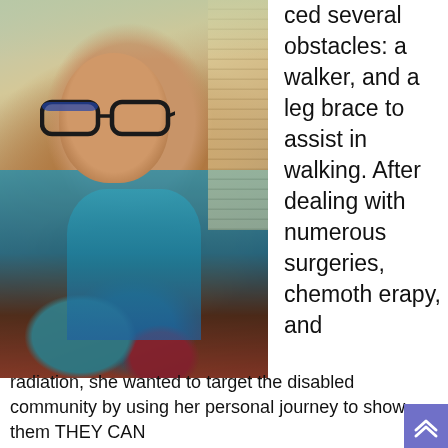[Figure (photo): Selfie of a smiling woman wearing large dark-rimmed glasses, braids, and a colorful patterned blouse with teal accents, taken indoors near a window with blinds and plants.]
ced several obstacles: a walker, and a leg brace to assist in walking. After dealing with numerous surgeries, chemotherapy, and radiation, she wanted to target the disabled community by using her personal journey to show them THEY CAN
[Figure (other): Purple scroll-to-top button with double up-arrow icon]